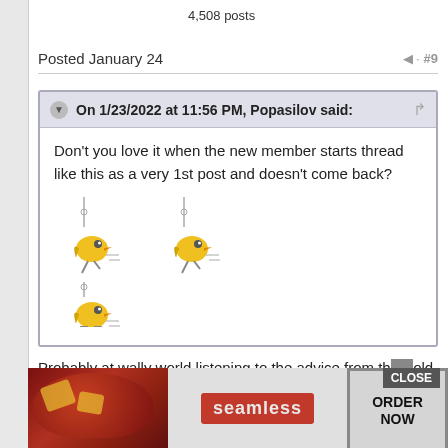4,508 posts
Posted January 24  · #9
On 1/23/2022 at 11:56 PM, Popasilov said:
Don't you love it when the new member starts thread like this as a very 1st post and doesn't come back?
[Figure (illustration): Three animated running emoji/bird emoticons]
Probably at wally world listening to the advice from the old count
[Figure (screenshot): Seamless food delivery advertisement overlay with CLOSE button and ORDER NOW button]